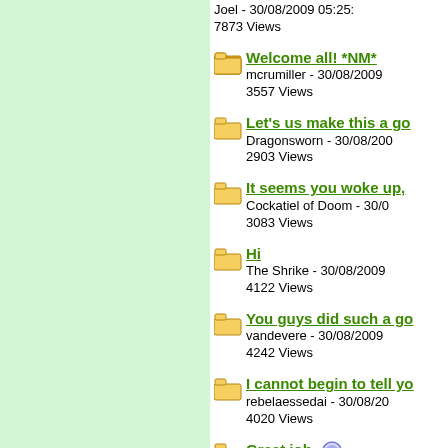Joel - 30/08/2009 05:25: | 7873 Views
Welcome all! *NM* | mcrumiller - 30/08/2009 | 3557 Views
Let's us make this a go... | Dragonsworn - 30/08/200... | 2903 Views
It seems you woke up,... | Cockatiel of Doom - 30/0... | 3083 Views
Hi | The Shrike - 30/08/2009 | 4122 Views
You guys did such a go... | vandevere - 30/08/2009 | 4242 Views
I cannot begin to tell yo... | rebelaessedai - 30/08/20... | 4020 Views
Great job 🔔 | Ellestra - 30/08/2009 08:... | 4264 Views
thank you... this is reall... | temeraire - 30/08/2009 1... | 2955 Views